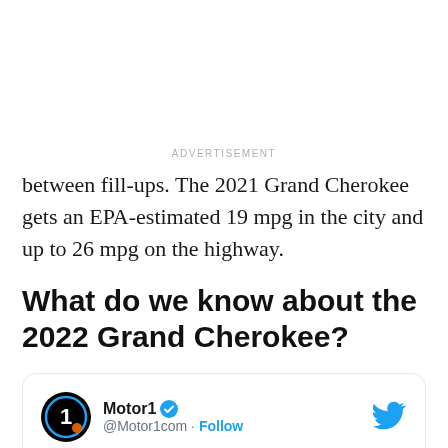ADVERTISEMENT
between fill-ups. The 2021 Grand Cherokee gets an EPA-estimated 19 mpg in the city and up to 26 mpg on the highway.
What do we know about the 2022 Grand Cherokee?
[Figure (screenshot): Twitter/Motor1 tweet card with Motor1 logo avatar, handle @Motor1com, Follow link, Twitter bird icon, and tweet text beginning 'Some versions of the turbocharged, mild-hybrid inline-six might make more']